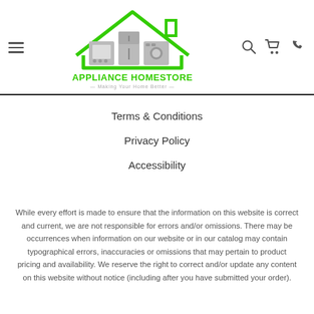[Figure (logo): Appliance Homestore logo with green house outline, gray appliance icons (oven, refrigerator, washing machine), green text APPLIANCE HOMESTORE, gray tagline Making Your Home Better]
Terms & Conditions
Privacy Policy
Accessibility
While every effort is made to ensure that the information on this website is correct and current, we are not responsible for errors and/or omissions. There may be occurrences when information on our website or in our catalog may contain typographical errors, inaccuracies or omissions that may pertain to product pricing and availability. We reserve the right to correct and/or update any content on this website without notice (including after you have submitted your order).